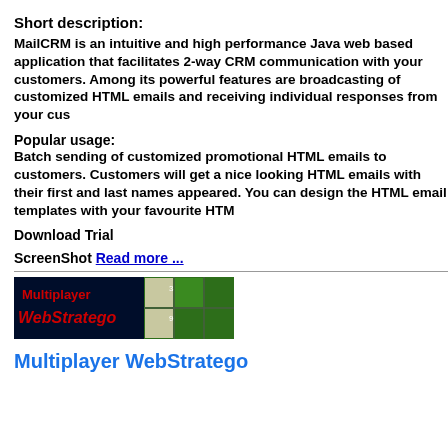Short description:
MailCRM is an intuitive and high performance Java web based application that facilitates 2-way CRM communication with your customers. Among its powerful features are broadcasting of customized HTML emails and receiving individual responses from your customers.
Popular usage:
Batch sending of customized promotional HTML emails to customers. Customers will get a nice looking HTML emails with their first and last names appeared. You can design the HTML email templates with your favourite HTM
Download Trial
ScreenShot Read more ...
[Figure (illustration): Multiplayer WebStratego game banner with dark background showing board game pieces]
Multiplayer WebStratego